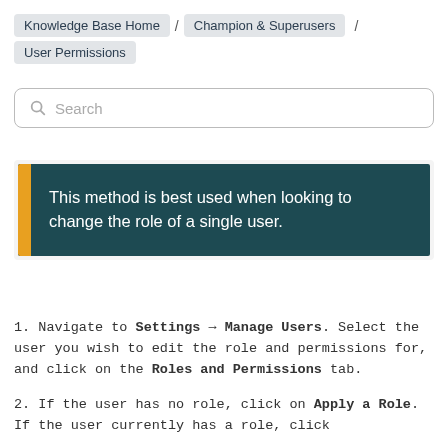Knowledge Base Home / Champion & Superusers / User Permissions
Search
This method is best used when looking to change the role of a single user.
1. Navigate to Settings → Manage Users. Select the user you wish to edit the role and permissions for, and click on the Roles and Permissions tab.
2. If the user has no role, click on Apply a Role. If the user currently has a role, click